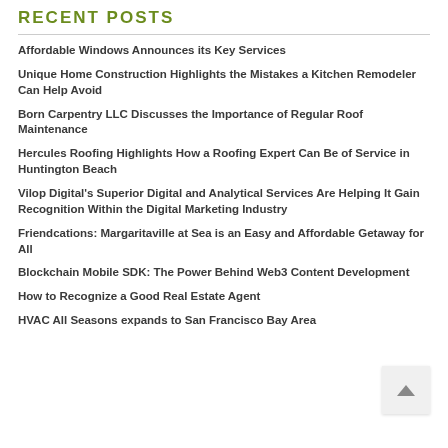RECENT POSTS
Affordable Windows Announces its Key Services
Unique Home Construction Highlights the Mistakes a Kitchen Remodeler Can Help Avoid
Born Carpentry LLC Discusses the Importance of Regular Roof Maintenance
Hercules Roofing Highlights How a Roofing Expert Can Be of Service in Huntington Beach
Vilop Digital's Superior Digital and Analytical Services Are Helping It Gain Recognition Within the Digital Marketing Industry
Friendcations: Margaritaville at Sea is an Easy and Affordable Getaway for All
Blockchain Mobile SDK: The Power Behind Web3 Content Development
How to Recognize a Good Real Estate Agent
HVAC All Seasons expands to San Francisco Bay Area